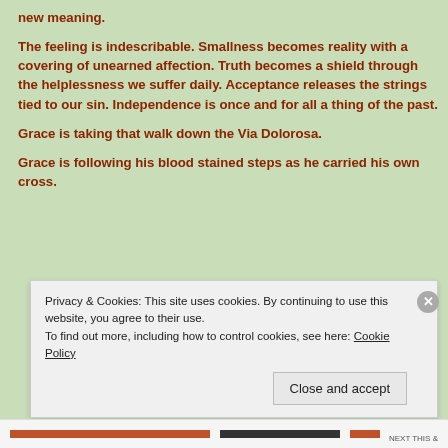new meaning.
The feeling is indescribable. Smallness becomes reality with a covering of unearned affection. Truth becomes a shield through the helplessness we suffer daily. Acceptance releases the strings tied to our sin. Independence is once and for all a thing of the past.
Grace is taking that walk down the Via Dolorosa.
Grace is following his blood stained steps as he carried his own cross.
Privacy & Cookies: This site uses cookies. By continuing to use this website, you agree to their use.
To find out more, including how to control cookies, see here: Cookie Policy
Close and accept